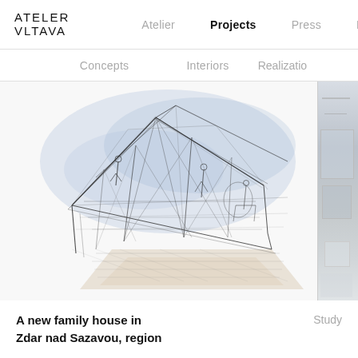ATELER VLTAVA
Atelier  Projects  Press  R
Concepts  Interiors  Realizatio
[Figure (illustration): Architectural hand-drawn sketch of a family house interior/exterior perspective with structural framing lines in pencil/ink, watercolor blue wash accents, and warm floor tones. Partial photo strip on right showing a modern interior.]
A new family house in Zdar nad Sazavou, region
Study